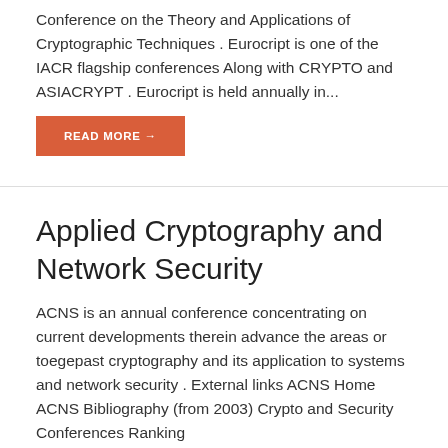Conference on the Theory and Applications of Cryptographic Techniques . Eurocript is one of the IACR flagship conferences Along with CRYPTO and ASIACRYPT . Eurocript is held annually in...
READ MORE →
Applied Cryptography and Network Security
ACNS is an annual conference concentrating on current developments therein advance the areas or toegepast cryptography and its application to systems and network security . External links ACNS Home ACNS Bibliography (from 2003) Crypto and Security Conferences Ranking